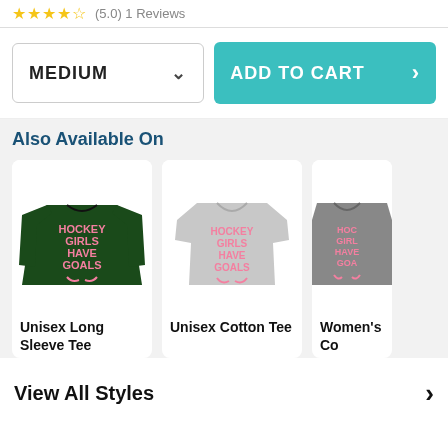★★★★☆ (5.0) 1 Reviews
MEDIUM
ADD TO CART
Also Available On
[Figure (photo): Dark green long sleeve shirt with pink text 'HOCKEY GIRLS HAVE GOALS' and hockey sticks graphic]
Unisex Long Sleeve Tee
[Figure (photo): Gray cotton t-shirt with pink text 'HOCKEY GIRLS HAVE GOALS' and hockey sticks graphic]
Unisex Cotton Tee
[Figure (photo): Gray women's shirt with pink text 'HOCKEY GIRLS HAVE GOALS' graphic, partially cropped]
Women's Co
View All Styles